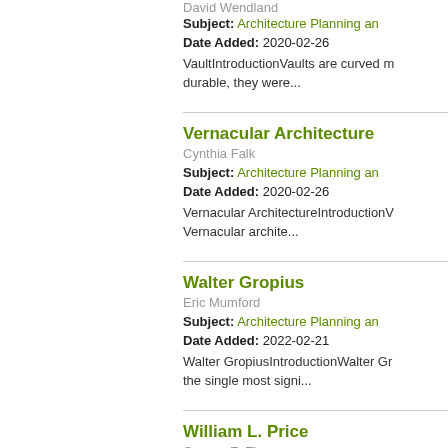David Wendland
Subject: Architecture Planning an...
Date Added: 2020-02-26
VaultIntroductionVaults are curved m... durable, they were...
Vernacular Architecture
Cynthia Falk
Subject: Architecture Planning an...
Date Added: 2020-02-26
Vernacular ArchitectureIntroductionV... Vernacular archite...
Walter Gropius
Eric Mumford
Subject: Architecture Planning an...
Date Added: 2022-02-21
Walter GropiusIntroductionWalter Gr... the single most signi...
William L. Price
George E. Thomas